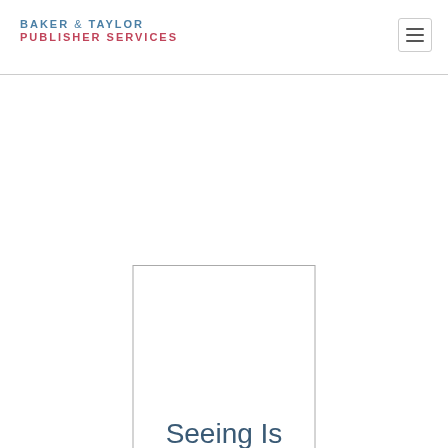BAKER & TAYLOR PUBLISHER SERVICES
[Figure (illustration): Empty white rectangle with a thin gray border, representing a book cover placeholder]
Seeing Is